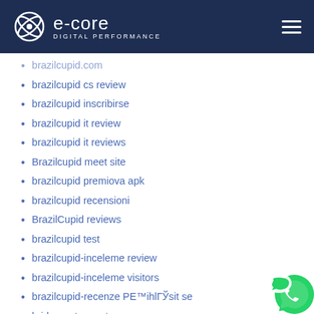e-core DIGITAL PERFORMANCE
brazilcupid.com (partially visible)
brazilcupid cs review
brazilcupid inscribirse
brazilcupid it review
brazilcupid it reviews
Brazilcupid meet site
brazilcupid premiova apk
brazilcupid recensioni
BrazilCupid reviews
brazilcupid test
brazilcupid-inceleme review
brazilcupid-inceleme visitors
brazilcupid-recenze PE™ihlГЎsit se
bridgeport escort near me
bridgeport reviews
Brighton+Australia dating
Brighton+Australia hookup
Brighton+Australia review
Brighton+United Kingdom mobile
Brighton+United Kingdom review
bristlr app